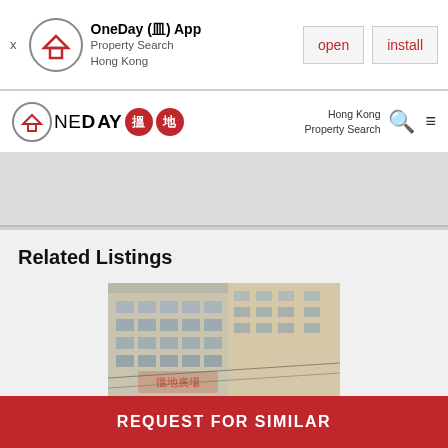OneDay (皿) App Property Search Hong Kong — open | install
[Figure (logo): OneDay 搵地 logo with house icon in circle, Chinese characters in red circles]
Hong Kong Property Search
[Figure (photo): Grey/white advertisement band]
Related Listings
[Figure (photo): Photo of Kam Chung Commercial Building exterior, multi-story commercial building]
Kam Chung Commercial Building
HKS 29,490 /month
REQUEST FOR SIMILAR